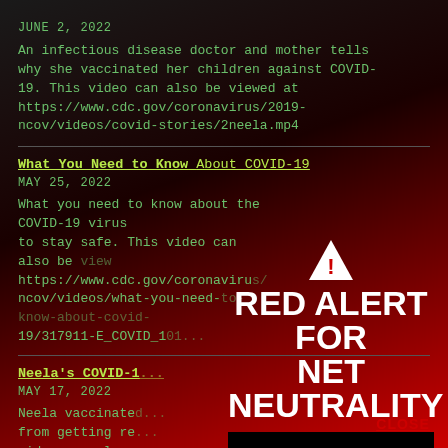JUNE 2, 2022
An infectious disease doctor and mother tells why she vaccinated her children against COVID-19. This video can also be viewed at https://www.cdc.gov/coronavirus/2019-ncov/videos/covid-stories/2neela.mp4
What You Need to Know About COVID-19
MAY 25, 2022
What you need to know about the COVID-19 virus to stay safe. This video can also be viewed at https://www.cdc.gov/coronavirus/2019-ncov/videos/what-you-need-to-know-about-covid-19/317911-E_COVID_101...
Neela's COVID-1...
MAY 17, 2022
Neela vaccinated... from getting re... video can also... https://www.cd...
[Figure (infographic): Red Alert for Net Neutrality overlay with warning triangle icon, bold white text reading 'RED ALERT FOR NET NEUTRALITY', a black 'TAKE ACTION' button, and a red 'CLOSE' link at bottom right.]